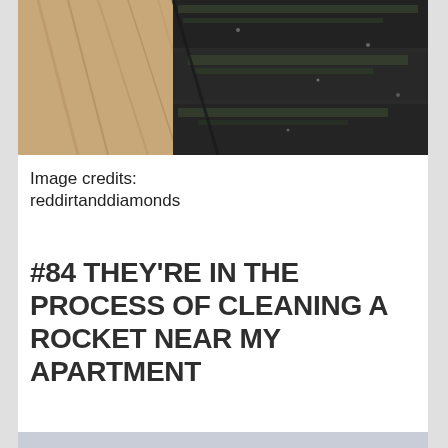[Figure (photo): Close-up photo of weathered wooden boards showing natural wood grain on the left and dark, mossy/algae-covered boards on the right]
Image credits: reddirtanddiamonds
#84 THEY'RE IN THE PROCESS OF CLEANING A ROCKET NEAR MY APARTMENT
[Figure (photo): Bottom portion of another image, showing a light blue/grey background, partially cropped]